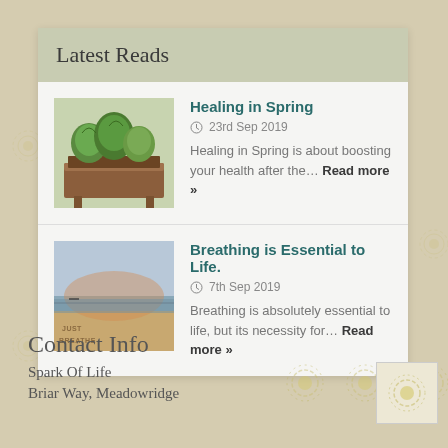Latest Reads
Healing in Spring
23rd Sep 2019
Healing in Spring is about boosting your health after the… Read more »
Breathing is Essential to Life.
7th Sep 2019
Breathing is absolutely essential to life, but its necessity for… Read more »
Contact Info
Spark Of Life
Briar Way, Meadowridge